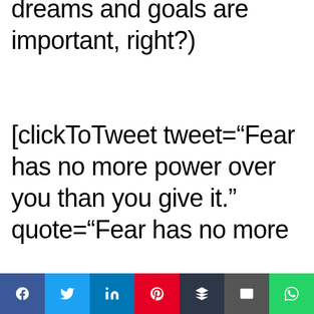dreams and goals are important, right?) [clickToTweet tweet="Fear has no more power over you than you give it." quote="Fear has no more
Social share bar with icons: Facebook, Twitter, LinkedIn, Pinterest, Buffer, Email, WhatsApp